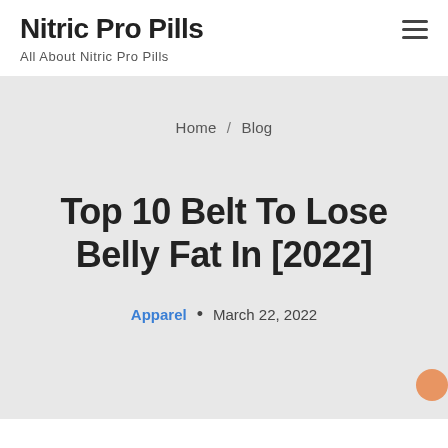Nitric Pro Pills
All About Nitric Pro Pills
Home / Blog
Top 10 Belt To Lose Belly Fat In [2022]
Apparel • March 22, 2022